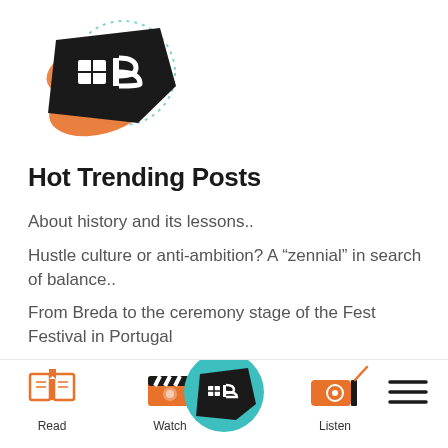[Figure (logo): HUB logo — black pentagon/megaphone shape with white grid icon, orange splash behind, teal dotted arc behind]
Hot Trending Posts
About history and its lessons..
Hustle culture or anti-ambition? A “zennial” in search of balance..
From Breda to the ceremony stage of the Fest Festival in Portugal
HUB-BLEND edition for first-year students
[Figure (infographic): Bottom navigation bar with icons: Read (open book, orange), Watch (clapperboard, orange), center HUB logo on teal circle, Listen (radio, orange), hamburger menu]